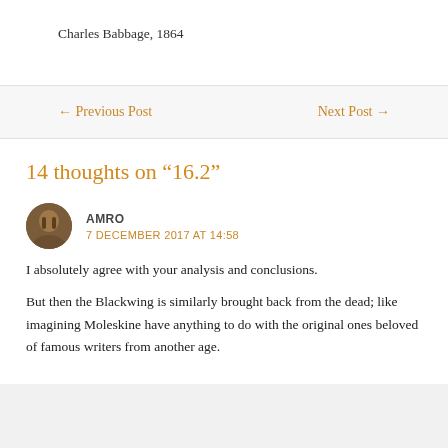Charles Babbage, 1864
← Previous Post
Next Post →
14 thoughts on “16.2”
AMRO
7 DECEMBER 2017 AT 14:58
I absolutely agree with your analysis and conclusions.
But then the Blackwing is similarly brought back from the dead; like imagining Moleskine have anything to do with the original ones beloved of famous writers from another age.